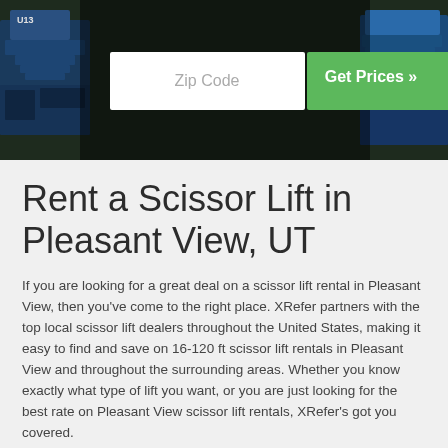[Figure (photo): Hero image showing industrial scissor lift equipment with a search bar overlay containing a Zip Code input field and a green Get Prices button]
Rent a Scissor Lift in Pleasant View, UT
If you are looking for a great deal on a scissor lift rental in Pleasant View, then you've come to the right place. XRefer partners with the top local scissor lift dealers throughout the United States, making it easy to find and save on 16-120 ft scissor lift rentals in Pleasant View and throughout the surrounding areas. Whether you know exactly what type of lift you want, or you are just looking for the best rate on Pleasant View scissor lift rentals, XRefer's got you covered.
Pleasant View Scissor Lift Rentals Offered
Here at XRefer we know that our customers need different